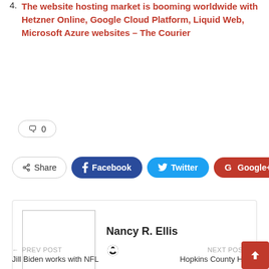4. The website hosting market is booming worldwide with Hetzner Online, Google Cloud Platform, Liquid Web, Microsoft Azure websites – The Courier
💬 0
Share  Facebook  Twitter  Google+  +
Nancy R. Ellis
← PREV POST
Jill Biden works with NFL
NEXT POST →
Hopkins County Hosts